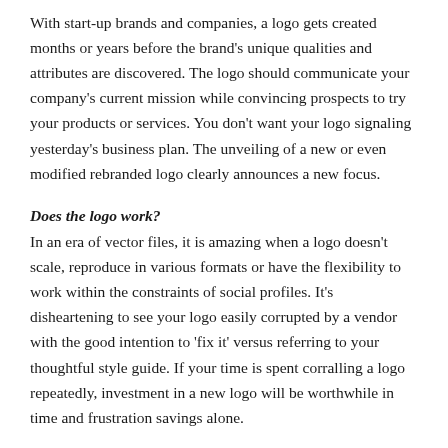With start-up brands and companies, a logo gets created months or years before the brand's unique qualities and attributes are discovered. The logo should communicate your company's current mission while convincing prospects to try your products or services. You don't want your logo signaling yesterday's business plan. The unveiling of a new or even modified rebranded logo clearly announces a new focus.
Does the logo work?
In an era of vector files, it is amazing when a logo doesn't scale, reproduce in various formats or have the flexibility to work within the constraints of social profiles. It's disheartening to see your logo easily corrupted by a vendor with the good intention to 'fix it' versus referring to your thoughtful style guide. If your time is spent corralling a logo repeatedly, investment in a new logo will be worthwhile in time and frustration savings alone.